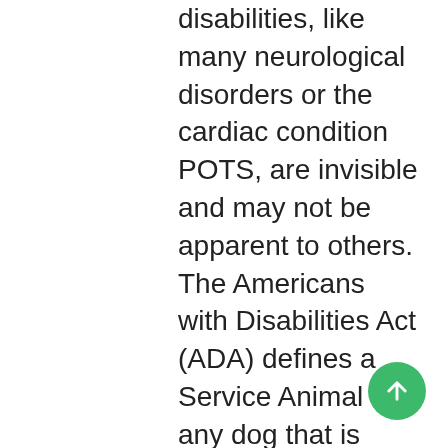disabilities, like many neurological disorders or the cardiac condition POTS, are invisible and may not be apparent to others. The Americans with Disabilities Act (ADA) defines a Service Animal as: any dog that is individually trained to do work or perform tasks for the benefit of an individual with a disability, including a physical, sensory, developmental, psychiatric, intellectual, or other disability. Other species of animals, whether wild or domestic, trained or untrained, are not service animals for the purposes of this definition. The work or tasks performed by a service animal must be directly related to the individual's disability. Examples of work or tasks include, but are not limited to: